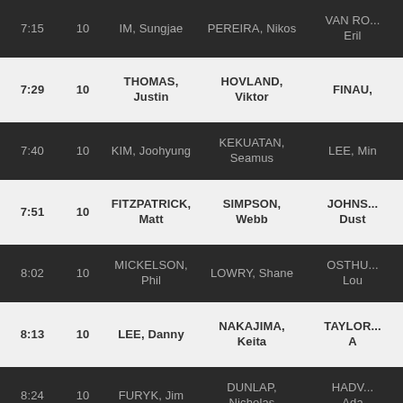| Time | Hole | Player 1 | Player 2 | Player 3 |
| --- | --- | --- | --- | --- |
| 7:15 (partial) | 10 | IM, Sungjae (partial) | PEREIRA, Nikos (partial) | VAN RO... Eril (partial) |
| 7:29 | 10 | THOMAS, Justin | HOVLAND, Viktor | FINAU, (partial) |
| 7:40 | 10 | KIM, Joohyung | KEKUATAN, Seamus | LEE, Min (partial) |
| 7:51 | 10 | FITZPATRICK, Matt | SIMPSON, Webb | JOHNS... Dust (partial) |
| 8:02 | 10 | MICKELSON, Phil | LOWRY, Shane | OSTHU... Lou (partial) |
| 8:13 | 10 | LEE, Danny | NAKAJIMA, Keita | TAYLOR... A (partial) |
| 8:24 | 10 | FURYK, Jim | DUNLAP, Nicholas | HADV... Ada (partial) |
| 8:35 | 10 | BLAND, Richard | HOSHINO, (partial) | FOX, R (partial) |